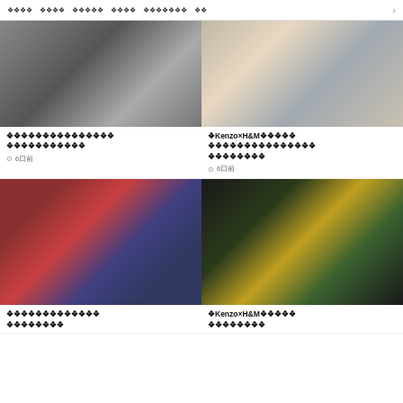❖❖❖❖  ❖❖❖❖  ❖❖❖❖❖  ❖❖❖❖  ❖❖❖❖❖❖❖  ❖❖  >
[Figure (photo): Black and white photo of people, close-up of clothing/torsos]
❖❖❖❖❖❖❖❖❖❖❖❖❖❖❖ ❖❖❖❖❖❖❖❖❖❖❖
⊙ 6日前
[Figure (photo): Color photo of people standing, showing legs and striped skirt]
❖Kenzo×H&M❖❖❖❖❖ ❖❖❖❖❖❖❖❖❖❖❖❖❖❖❖ ❖❖❖❖❖❖❖❖
⊙ 6日前
[Figure (photo): Color photo of two people in a dressing room, woman in red dress and man in black]
❖❖❖❖❖❖❖❖❖❖❖❖❖ ❖❖❖❖❖❖❖❖
[Figure (photo): Color photo of fashion show with colorful costumes, green, yellow figures on stage]
❖Kenzo×H&M❖❖❖❖❖ ❖❖❖❖❖❖❖❖